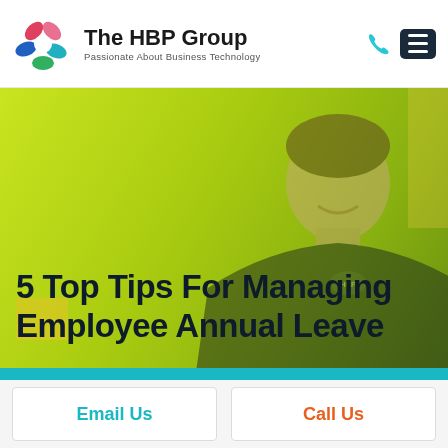The HBP Group — Passionate About Business Technology
[Figure (photo): Hero banner with green/yellow tinted overlay showing a smiling man in a dark polo shirt, with large bold title text overlaid: '5 Top Tips For Managing Employee Annual Leave']
5 Top Tips For Managing Employee Annual Leave
Email Us
Call Us